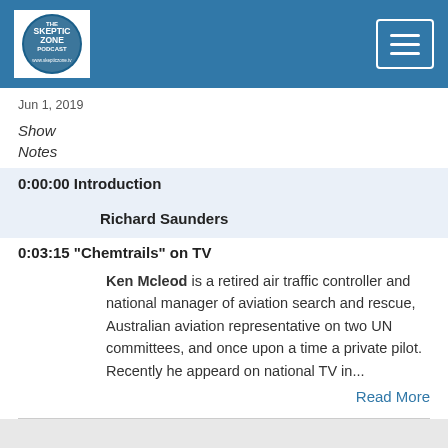[Figure (logo): The Skeptic Zone Podcast logo in a circular design on white background, inside a blue header bar with a hamburger menu button on the right]
Jun 1, 2019
Show Notes
0:00:00 Introduction
Richard Saunders
0:03:15 "Chemtrails" on TV
Ken Mcleod is a retired air traffic controller and national manager of aviation search and rescue, Australian aviation representative on two UN committees, and once upon a time a private pilot. Recently he appeard on national TV in...
Read More